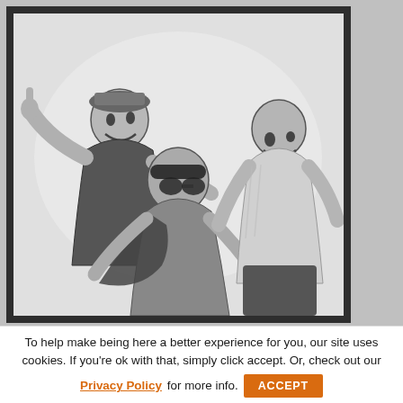[Figure (photo): A framed black-and-white illustration or photo of three young men making animated gestures and expressions — appearing to be a music band. The image is set inside a dark frame against a light grey background.]
To help make being here a better experience for you, our site uses cookies. If you're ok with that, simply click accept. Or, check out our
Privacy Policy for more info.
ACCEPT